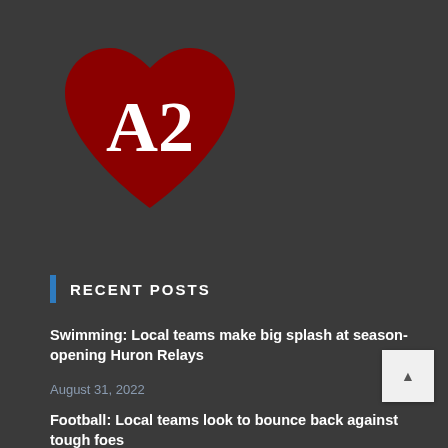[Figure (logo): A dark red heart shape with white serif text 'A2' in the center, representing an Ann Arbor local news logo]
RECENT POSTS
Swimming: Local teams make big splash at season-opening Huron Relays
August 31, 2022
Football: Local teams look to bounce back against tough foes